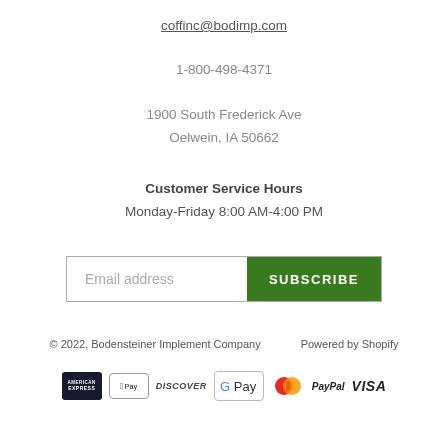coffinc@bodimp.com
1-800-498-4371
1900 South Frederick Ave
Oelwein, IA 50662
Customer Service Hours
Monday-Friday 8:00 AM-4:00 PM
Email address  SUBSCRIBE
© 2022, Bodensteiner Implement Company    Powered by Shopify
[Figure (logo): Payment method icons: American Express, Apple Pay, Discover, Google Pay, Mastercard, PayPal, Visa]